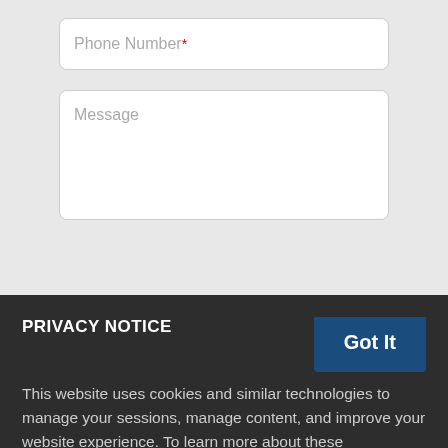Phone Number*
Message
PRIVACY NOTICE
This website uses cookies and similar technologies to manage your sessions, manage content, and improve your website experience. To learn more about these technologies, your options, and about other categories of personal information we collect through this website and how we may use it, please see our privacy policy. This notice is effective for your use of this website for the next 14 days.
SMS // About Us